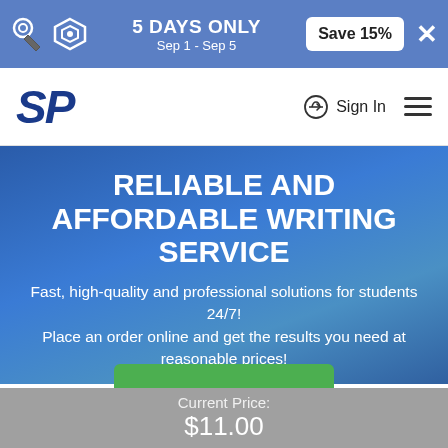5 DAYS ONLY Sep 1 - Sep 5  Save 15%
[Figure (logo): SP logo in bold italic dark blue, navigation bar with Sign In and hamburger menu]
RELIABLE AND AFFORDABLE WRITING SERVICE
Fast, high-quality and professional solutions for students 24/7! Place an order online and get the results you need at reasonable prices!
Current Price: $11.00